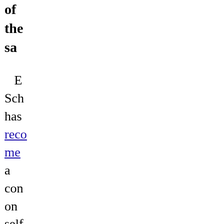of the sa
E Sch has recommended a con on self pla insp app by Bru Fre rep of the sam arti i